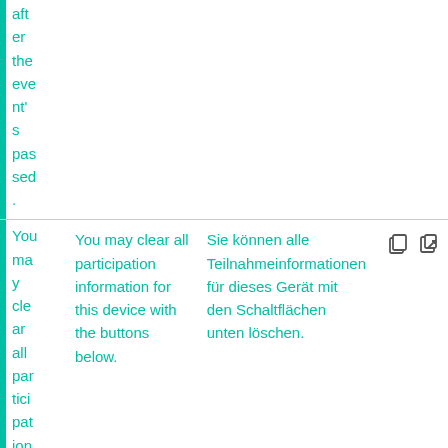after the event's passed.
You may clear all participation information for this device with the buttons below.
You may clear all participation information for this device with the buttons below.
Sie können alle Teilnahmeinformationen für dieses Gerät mit den Schaltflächen unten löschen.